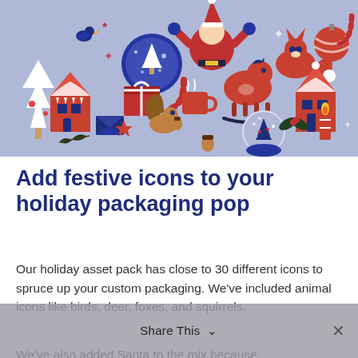[Figure (illustration): A festive holiday illustration with a lavender/periwinkle background featuring various Christmas icons including Santa Claus, Christmas trees, gingerbread houses, candy canes, a rocking horse, foxes, birds, squirrels, deer, stars, ornaments, gifts, a candle, a snow globe, mugs, envelopes, and other seasonal decorations in red, white, and dark navy blue.]
Add festive icons to your holiday packaging pop
Our holiday asset pack has close to 30 different icons to spruce up your custom packaging. We've included animal icons like birds, deer, foxes, and squirrels.
We've also added Santa to the mix because, well, he's Santa. We couldn't NOT add him. You'll also